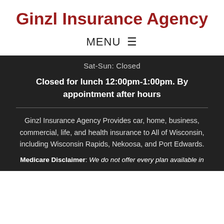Ginzl Insurance Agency
MENU ☰
Sat-Sun: Closed
Closed for lunch 12:00pm-1:00pm. By appointment after hours
Ginzl Insurance Agency Provides car, home, business, commercial, life, and health insurance to All of Wisconsin, including Wisconsin Rapids, Nekoosa, and Port Edwards.
Medicare Disclaimer: We do not offer every plan available in